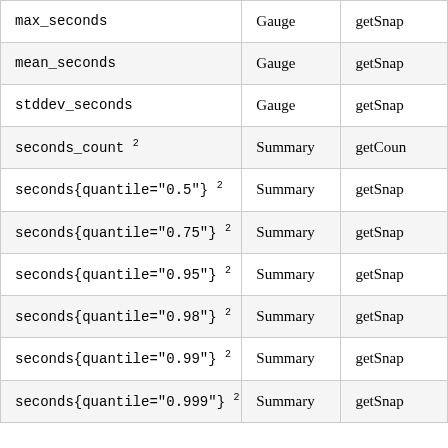| Metric | Type | Method |
| --- | --- | --- |
| max_seconds | Gauge | getSnap… |
| mean_seconds | Gauge | getSnap… |
| stddev_seconds | Gauge | getSnap… |
| seconds_count 2 | Summary | getCoun… |
| seconds{quantile="0.5"} 2 | Summary | getSnap… |
| seconds{quantile="0.75"} 2 | Summary | getSnap… |
| seconds{quantile="0.95"} 2 | Summary | getSnap… |
| seconds{quantile="0.98"} 2 | Summary | getSnap… |
| seconds{quantile="0.99"} 2 | Summary | getSnap… |
| seconds{quantile="0.999"} 2 | Summary | getSnap… |